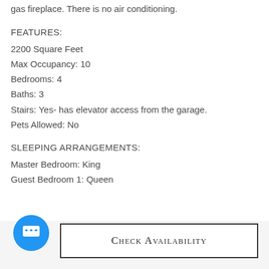gas fireplace. There is no air conditioning.
FEATURES:
2200 Square Feet
Max Occupancy: 10
Bedrooms: 4
Baths: 3
Stairs: Yes- has elevator access from the garage.
Pets Allowed: No
SLEEPING ARRANGEMENTS:
Master Bedroom: King
Guest Bedroom 1: Queen
Check Availability